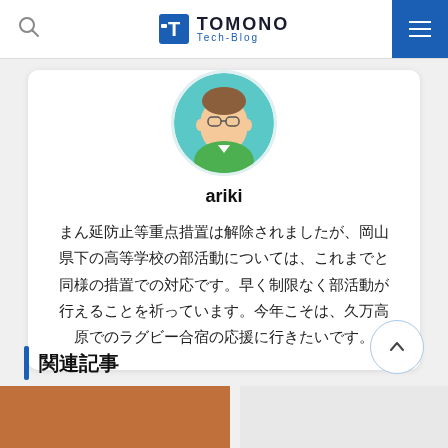TOMONO Tech-Blog
[Figure (illustration): Circular avatar illustration of a person wearing glasses and a green jacket]
ariki
まん延防止等重点措置は解除されましたが、岡山県下の高等学校の部活動については、これまでと同様の措置での対応です。早く制限なく部活動が行えることを祈っています。今年こそは、久万高原でのラグビー合宿の応援に行きたいです。
関連記事